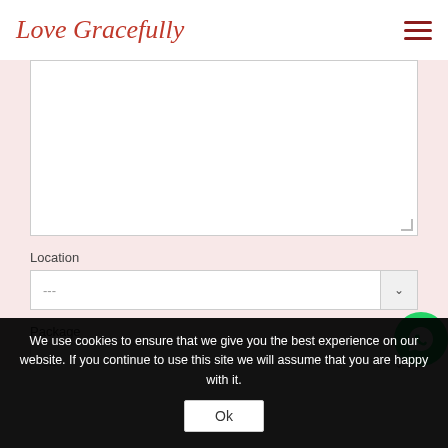Love Gracefully
[Figure (screenshot): Web form with textarea, Location dropdown, Package dropdown on a light pink background]
We use cookies to ensure that we give you the best experience on our website. If you continue to use this site we will assume that you are happy with it.
Ok